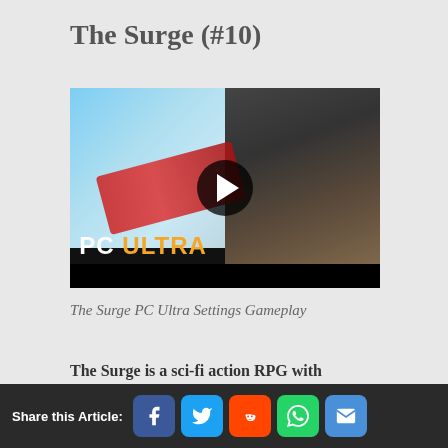The Surge (#10)
[Figure (screenshot): Video thumbnail for 'The Surge PC Ultra Settings Gameplay' showing a sci-fi action game character with chainsaw weapons and a play button overlay. PC ULTRA text label visible at bottom left.]
The Surge PC Ultra Settings Gameplay
The Surge is a sci-fi action RPG with
Share this Article: [Facebook] [Twitter] [Reddit] [WhatsApp] [Email]